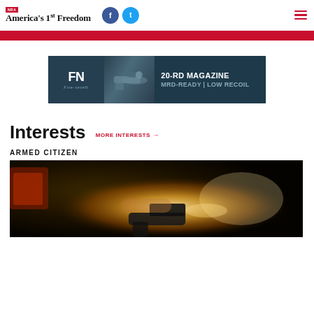NRA America's 1st Freedom
[Figure (screenshot): Red horizontal navigation bar below the page header]
[Figure (screenshot): FN Five-seveN advertisement banner: 20-RD MAGAZINE MRD-READY | LOW RECOIL]
Interests
MORE INTERESTS →
ARMED CITIZEN
[Figure (photo): Close-up photo of a handgun being fired with dramatic lighting, muzzle flash visible]